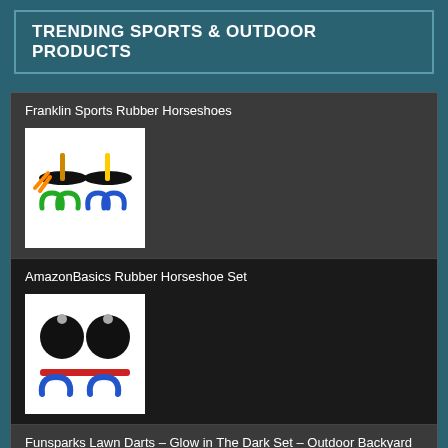TRENDING SPORTS & OUTDOOR PRODUCTS
Franklin Sports Rubber Horseshoes
[Figure (photo): Franklin Sports Rubber Horseshoes product image showing two black rubber stake bases with orange/green horseshoes]
AmazonBasics Rubber Horseshoe Set
[Figure (photo): AmazonBasics Rubber Horseshoe Set product image showing two black rubber stake bases with red and blue horseshoes]
Funsparks Lawn Darts – Glow in The Dark Set – Outdoor Backyard Toy
[Figure (photo): Funsparks Lawn Darts product image showing glow in the dark lawn dart set with target rings]
Up from the bottom of the page — partial text visible